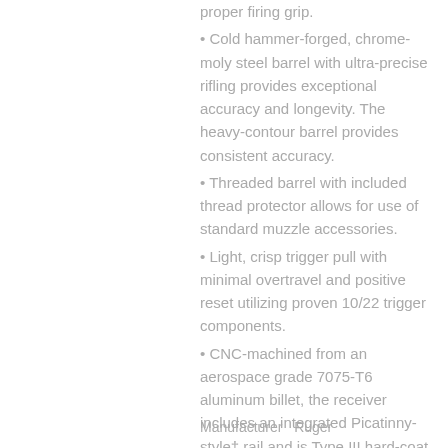proper firing grip.
Cold hammer-forged, chrome-moly steel barrel with ultra-precise rifling provides exceptional accuracy and longevity. The heavy-contour barrel provides consistent accuracy.
Threaded barrel with included thread protector allows for use of standard muzzle accessories.
Light, crisp trigger pull with minimal overtravel and positive reset utilizing proven 10/22 trigger components.
CNC-machined from an aerospace grade 7075-T6 aluminum billet, the receiver includes an integrated Picatinny-style† rail and is Type III hard-coat anodized for maximum durability.
Ergonomic pistol grip features an extended trigger reach for more precise trigger control.
Also includes: one, SR-Series™ pistol magazine; hex wrenches for disassembly of the chassis system and pistol, and charging handle removal.
Manufacturer   Ruger